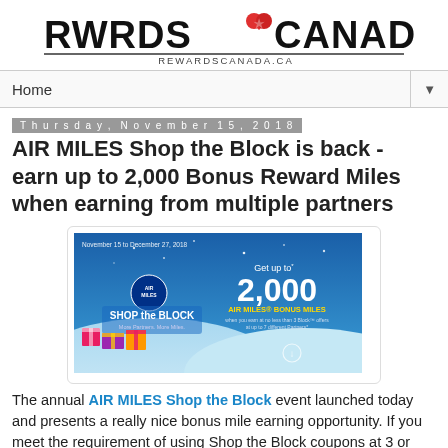[Figure (logo): RWRDS Canada logo with maple leaf heart graphic and rewardscanada.ca text]
Home ▼
Thursday, November 15, 2018
AIR MILES Shop the Block is back - earn up to 2,000 Bonus Reward Miles when earning from multiple partners
[Figure (illustration): AIR MILES Shop the Block promotional banner. Blue winter scene with gift boxes, text: November 15 to December 27, 2018. Get up to 2,000 AIR MILES BONUS MILES. Shop the Block - More Partners, More Miles.]
The annual AIR MILES Shop the Block event launched today and presents a really nice bonus mile earning opportunity. If you meet the requirement of using Shop the Block coupons at 3 or more sponsors you'll be awarded with up to 2,000 Rewards Miles over and above the base miles